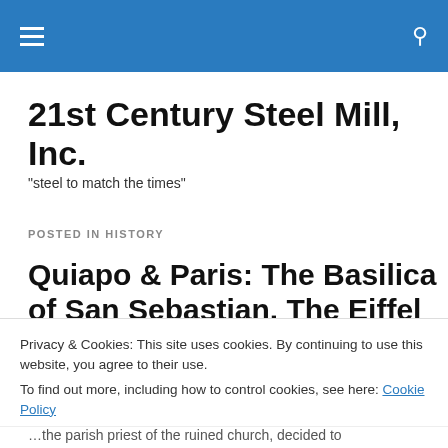21st Century Steel Mill, Inc.
"steel to match the times"
POSTED IN HISTORY
Quiapo & Paris: The Basilica of San Sebastian. The Eiffel
Privacy & Cookies: This site uses cookies. By continuing to use this website, you agree to their use.
To find out more, including how to control cookies, see here: Cookie Policy
...the parish priest of the ruined church, decided to